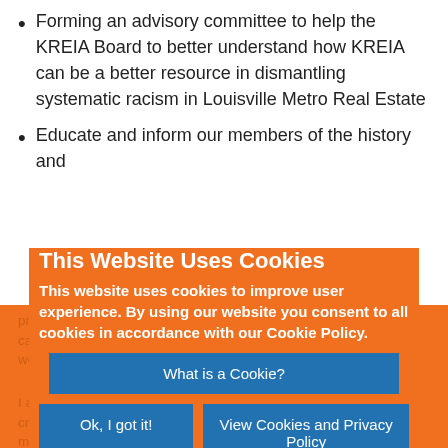Forming an advisory committee to help the KREIA Board to better understand how KREIA can be a better resource in dismantling systematic racism in Louisville Metro Real Estate
Educate and inform our members of the history and
practices of segregation and redlining of neighborhoods that have caused the separation of races in our city adding to the challenges we continue to struggle with today.
I and the KREIA Board of Directors stand ready to accept your call, criticism or help so that KREIA remains equally accessible to all members with their real estate investing and financial goals.
Chris McCarty
This Website Uses Cookies
This website uses cookies to improve user experience. By using our website you consent to all cookies in accordance with our Cookie Policy.
What is a Cookie?
Ok, I got it!
View Cookies and Privacy Policy